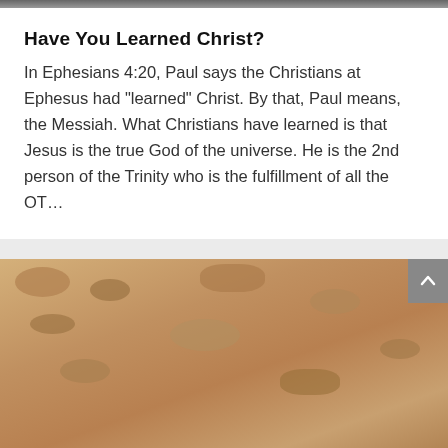[Figure (photo): Top portion of an image, mostly cropped off — dark strip visible at top of page]
Have You Learned Christ?
In Ephesians 4:20, Paul says the Christians at Ephesus had "learned" Christ. By that, Paul means, the Messiah. What Christians have learned is that Jesus is the true God of the universe. He is the 2nd person of the Trinity who is the fulfillment of all the OT…
[Figure (photo): Photograph of archaeological objects — what appears to be an ancient pot or vessel and coins partially buried in sandy rocky ground. A scroll-up navigation button is visible in the top-right corner.]